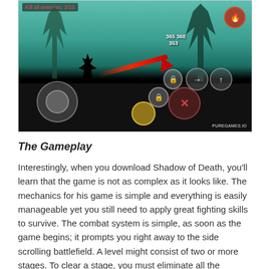[Figure (screenshot): Mobile game screenshot of Shadow of Death showing a dark silhouette character attacking an enemy with a red slash/arrow in a dark side-scrolling environment with green/teal background, game UI controls including joystick, attack buttons, lock buttons, fire button. Watermark reads PUREGAMES.IO]
The Gameplay
Interestingly, when you download Shadow of Death, you'll learn that the game is not as complex as it looks like. The mechanics for his game is simple and everything is easily manageable yet you still need to apply great fighting skills to survive. The combat system is simple, as soon as the game begins; it prompts you right away to the side scrolling battlefield. A level might consist of two or more stages. To clear a stage, you must eliminate all the